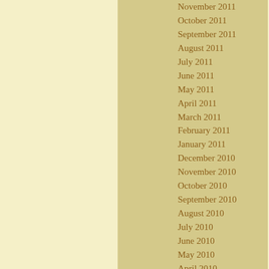November 2011
October 2011
September 2011
August 2011
July 2011
June 2011
May 2011
April 2011
March 2011
February 2011
January 2011
December 2010
November 2010
October 2010
September 2010
August 2010
July 2010
June 2010
May 2010
April 2010
March 2010
February 2010
January 2010
December 2009
October 2009
September 2009
August 2009
July 2009
June 2009